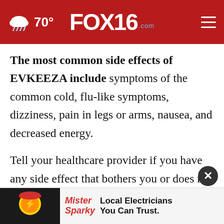70° FOX16 .com
The most common side effects of EVKEEZA include symptoms of the common cold, flu-like symptoms, dizziness, pain in legs or arms, nausea, and decreased energy.
Tell your healthcare provider if you have any side effect that bothers you or does not go away. These are not all the possible side effects of EVKEEZA. Call your doctor for medical advice about side effects. You may report side effects to FDA a...
[Figure (screenshot): Mister Sparky advertisement banner: Local Electricians You Can Trust.]